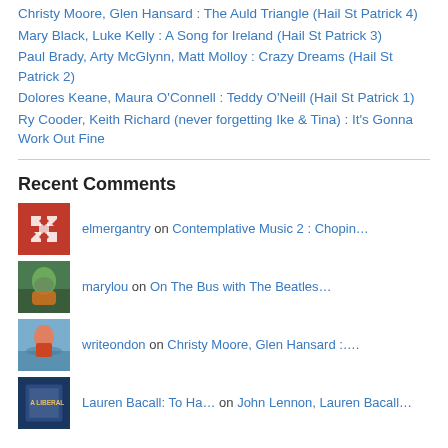Christy Moore, Glen Hansard : The Auld Triangle (Hail St Patrick 4)
Mary Black, Luke Kelly : A Song for Ireland (Hail St Patrick 3)
Paul Brady, Arty McGlynn, Matt Molloy : Crazy Dreams (Hail St Patrick 2)
Dolores Keane, Maura O'Connell : Teddy O'Neill (Hail St Patrick 1)
Ry Cooder, Keith Richard (never forgetting Ike & Tina) : It's Gonna Work Out Fine
Recent Comments
elmergantry on Contemplative Music 2 : Chopin…
marylou on On The Bus with The Beatles…
writeondon on Christy Moore, Glen Hansard :….
Lauren Bacall: To Ha… on John Lennon, Lauren Bacall…